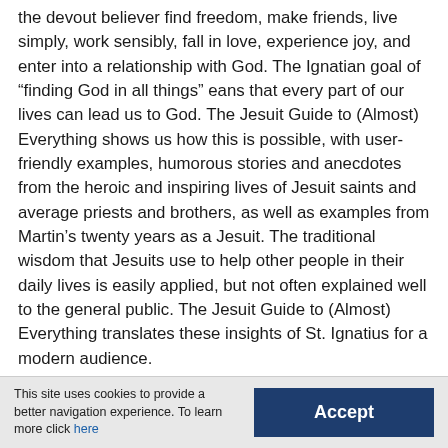the devout believer find freedom, make friends, live simply, work sensibly, fall in love, experience joy, and enter into a relationship with God. The Ignatian goal of “finding God in all things” eans that every part of our lives can lead us to God. The Jesuit Guide to (Almost) Everything shows us how this is possible, with user-friendly examples, humorous stories and anecdotes from the heroic and inspiring lives of Jesuit saints and average priests and brothers, as well as examples from Martin’s twenty years as a Jesuit. The traditional wisdom that Jesuits use to help other people in their daily lives is easily applied, but not often explained well to the general public. The Jesuit Guide to (Almost) Everything translates these insights of St. Ignatius for a modern audience.
This site uses cookies to provide a better navigation experience. To learn more click here